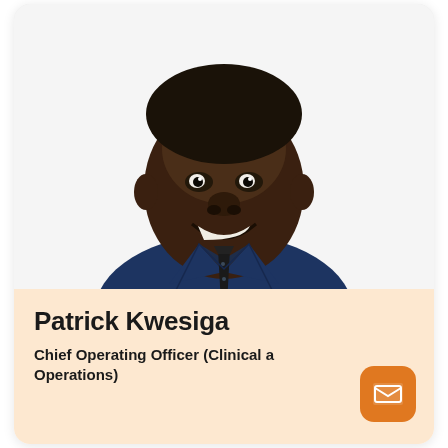[Figure (photo): Professional headshot of Patrick Kwesiga, a man wearing a navy blue suit jacket, dark tie with polka dots, and a dark shirt, smiling against a white background.]
Patrick Kwesiga
Chief Operating Officer (Clinical and Operations)